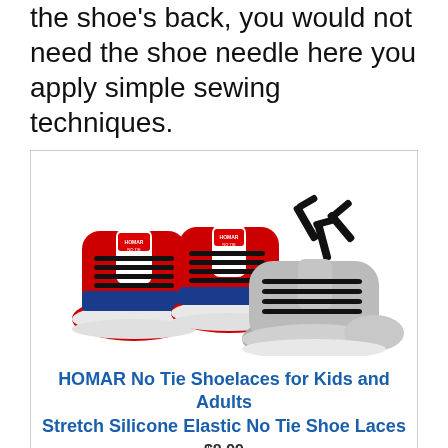the shoe's back, you would not need the shoe needle here you apply simple sewing techniques.
[Figure (photo): Product photo showing two red Converse-style sneakers with black HOMAR no-tie silicone elastic lace clips, plus a pair of gray athletic shoes with similar black no-tie laces, and three individual black T-bar lace connectors shown separately.]
HOMAR No Tie Shoelaces for Kids and Adults Stretch Silicone Elastic No Tie Shoe Laces
$8.99
[Figure (infographic): Pure Earth advertisement banner. Left side black background: 'We believe the global pollution crisis can be solved.' Middle dark background: 'In a world where pollution doesn't stop at borders, we can all be part of the solution. JOIN US.' Right side white background: Pure Earth logo with diamond/chevron icon.]